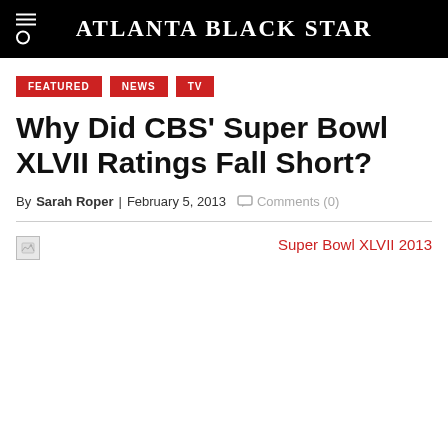Atlanta Black Star
FEATURED
NEWS
TV
Why Did CBS' Super Bowl XLVII Ratings Fall Short?
By Sarah Roper | February 5, 2013 Comments (0)
[Figure (photo): Broken image placeholder for Super Bowl XLVII 2013 article image]
Super Bowl XLVII 2013